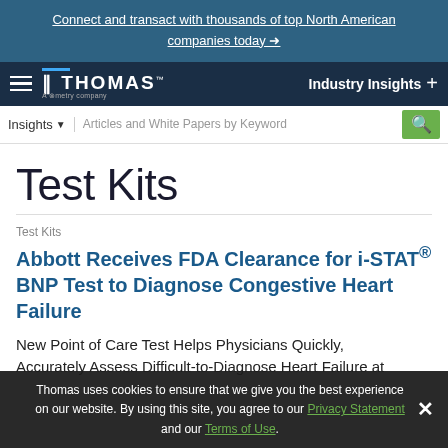Connect and transact with thousands of top North American companies today →
[Figure (logo): Thomas - A Xometry Company logo with hamburger menu and Industry Insights navigation]
Insights ▾  Articles and White Papers by Keyword [search]
Test Kits
Test Kits
Abbott Receives FDA Clearance for i-STAT® BNP Test to Diagnose Congestive Heart Failure
New Point of Care Test Helps Physicians Quickly, Accurately Assess Difficult-to-Diagnose Heart Failure at
Thomas uses cookies to ensure that we give you the best experience on our website. By using this site, you agree to our Privacy Statement and our Terms of Use.